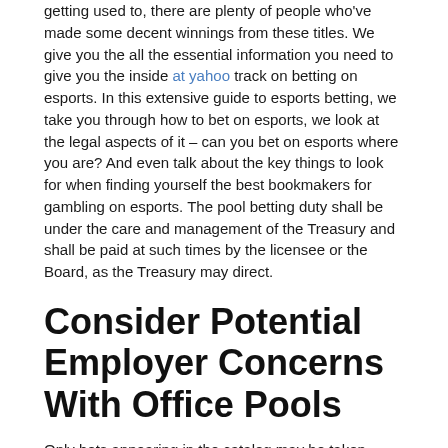getting used to, there are plenty of people who've made some decent winnings from these titles. We give you the all the essential information you need to give you the inside at yahoo track on betting on esports. In this extensive guide to esports betting, we take you through how to bet on esports, we look at the legal aspects of it – can you bet on esports where you are? And even talk about the key things to look for when finding yourself the best bookmakers for gambling on esports. The pool betting duty shall be under the care and management of the Treasury and shall be paid at such times by the licensee or the Board, as the Treasury may direct.
Consider Potential Employer Concerns With Office Pools
Only bets appearing in the catalog may be taken within the state of Colorado, by licensed operators. The Catalog was approved by the Commission on April 16, 2020 and undergoes regular updates. The information must be made available at a time and place that the Officer reasonably requires. Anyone intending to rely on the exemption from PBD on the grounds that the betting is for community benefit must tell HMRC in writing, at least 7